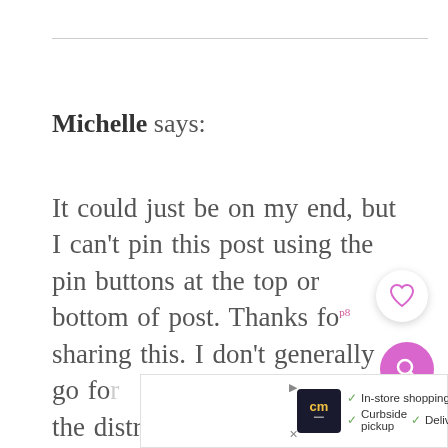Michelle says:
It could just be on my end, but I can't pin this post using the pin buttons at the top or bottom of post. Thanks for sharing this. I don't generally go for the distressed look, so I appreciate your take on simply using chalk paint as a...
[Figure (screenshot): Advertisement bar at bottom showing CM logo, in-store shopping, curbside pickup, delivery options with navigation arrow icon]